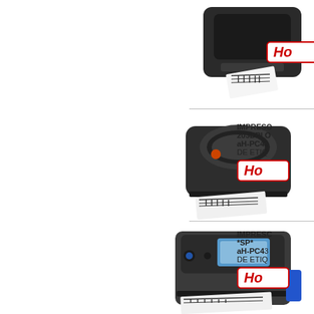[Figure (photo): Honeywell label printer top view, dark grey, printing a barcode label - product row 1]
Ho
[Figure (photo): Honeywell PC42 label printer, dark grey desktop model with barcode label output]
IMPRESO 203DPI O aH-PC42 DE ETIQ
Ho
[Figure (photo): Honeywell PC43 label printer with LCD display, dark grey desktop model with barcode label output]
IMPRESC *SP* aH-PC43 DE ETIQ
Ho